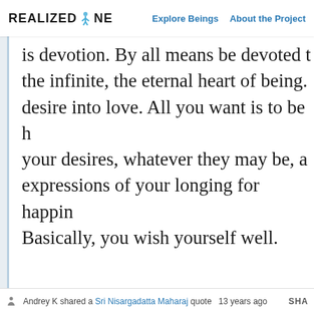REALIZED ONE  Explore Beings  About the Project
is devotion. By all means be devoted to the infinite, the eternal heart of being. desire into love. All you want is to be h your desires, whatever they may be, a expressions of your longing for happin Basically, you wish yourself well.
Sri Nisargadatta Maharaj
Andrey K shared a Sri Nisargadatta Maharaj quote  13 years ago  SHA